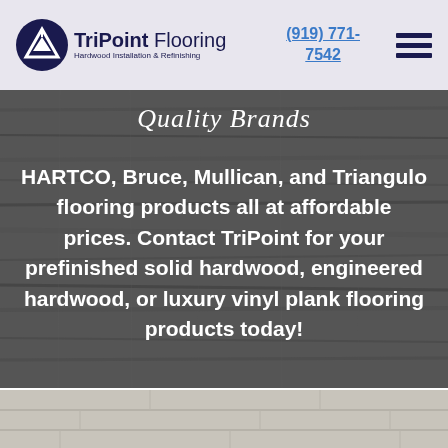[Figure (logo): TriPoint Flooring logo with triangle mountain icon, company name and tagline 'Hardwood Installation & Refinishing']
(919) 771-7542
[Figure (infographic): Hamburger menu icon with three horizontal lines]
Quality Brands
HARTCO, Bruce, Mullican, and Triangulo flooring products all at affordable prices. Contact TriPoint for your prefinished solid hardwood, engineered hardwood, or luxury vinyl plank flooring products today!
[Figure (photo): Light grey/white wood plank flooring texture at the bottom of the page]